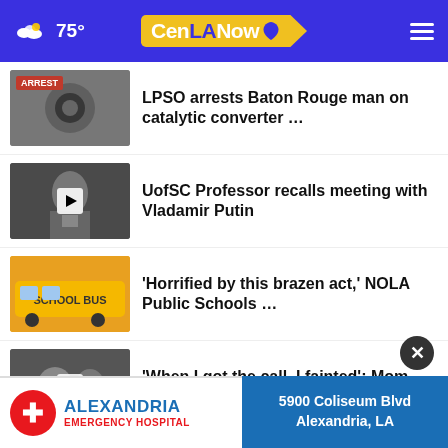75° CenLANow
LPSO arrests Baton Rouge man on catalytic converter …
UofSC Professor recalls meeting with Vladamir Putin
'Horrified by this brazen act,' NOLA Public Schools …
'When I got the call, I fainted': Mom wants answers …
Climatologist talks Ida anniversary, stronger storms …
Community rallies for Beauregard
[Figure (screenshot): Alexandria Emergency Hospital advertisement banner with logo and address: 5900 Coliseum Blvd, Alexandria, LA]